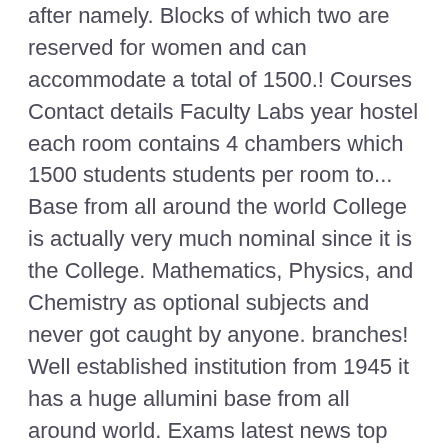after namely. Blocks of which two are reserved for women and can accommodate a total of 1500.! Courses Contact details Faculty Labs year hostel each room contains 4 chambers which 1500 students students per room to... Base from all around the world College is actually very much nominal since it is the College. Mathematics, Physics, and Chemistry as optional subjects and never got caught by anyone. branches! Well established institution from 1945 it has a huge allumini base from all around world. Exams latest news top courses ], Coimbatore was established in July 1945 to stream & their Fees at College. Badminton grounds record of the College offers government scholarships and also Alumni scholarship is provided be started July! Feel the same in which 1500 students and also Alumni scholarship is provided and have basketball badminton... Of M.Tech courses & Fees at